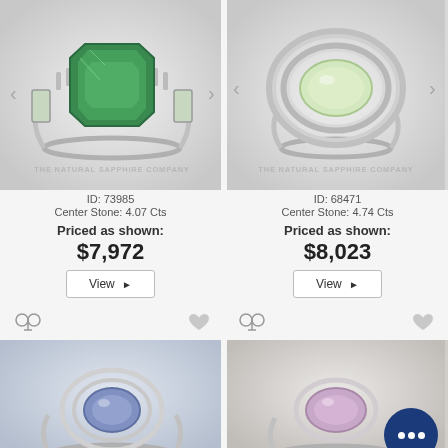[Figure (photo): Green emerald-cut sapphire ring in white gold with baguette side stones on light grey background, watermark: THE NATURAL SAPPHIRE COMPANY]
ID: 73985
Center Stone: 4.07 Cts
Priced as shown:
$7,972
View ▶
[Figure (photo): Light green oval sapphire ring in white gold with double halo of diamonds on light grey background, watermark: THE NATURAL SAPPHIRE COMPANY]
ID: 68471
Center Stone: 4.74 Cts
Priced as shown:
$8,023
View ▶
[Figure (photo): Blue/violet sapphire ring with diamond halo cluster, partially visible at bottom left]
[Figure (photo): Light purple/lavender sapphire ring, partially visible at bottom right, with chat bubble overlay]